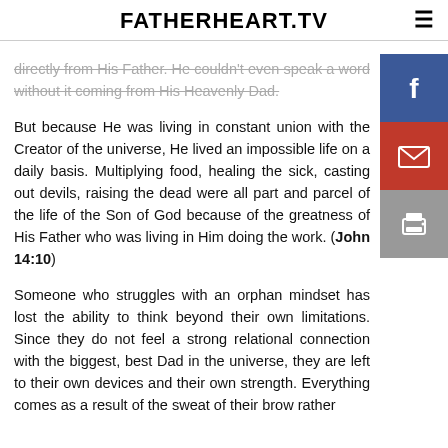FATHERHEART.TV
directly from His Father. He couldn't even speak a word without it coming from His Heavenly Dad.
But because He was living in constant union with the Creator of the universe, He lived an impossible life on a daily basis. Multiplying food, healing the sick, casting out devils, raising the dead were all part and parcel of the life of the Son of God because of the greatness of His Father who was living in Him doing the work. (John 14:10)
Someone who struggles with an orphan mindset has lost the ability to think beyond their own limitations. Since they do not feel a strong relational connection with the biggest, best Dad in the universe, they are left to their own devices and their own strength. Everything comes as a result of the sweat of their brow rather